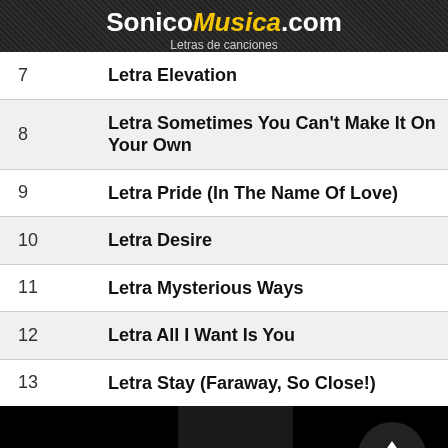SonicoMusica.com Letras de canciones
| # | Title |
| --- | --- |
| 7 | Letra Elevation |
| 8 | Letra Sometimes You Can't Make It On Your Own |
| 9 | Letra Pride (In The Name Of Love) |
| 10 | Letra Desire |
| 11 | Letra Mysterious Ways |
| 12 | Letra All I Want Is You |
| 13 | Letra Stay (Faraway, So Close!) |
| 14 | Letra When I Look At The World |
| 15 | Letra Grace |